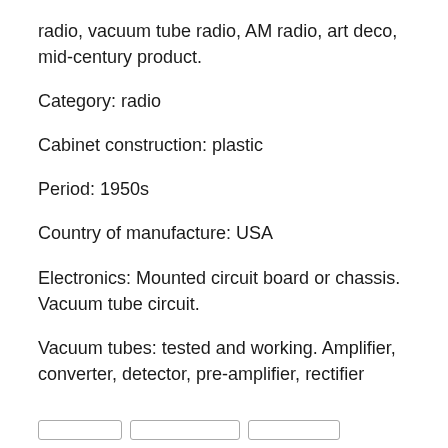radio, vacuum tube radio, AM radio, art deco, mid-century product.
Category: radio
Cabinet construction: plastic
Period: 1950s
Country of manufacture: USA
Electronics: Mounted circuit board or chassis. Vacuum tube circuit.
Vacuum tubes: tested and working. Amplifier, converter, detector, pre-amplifier, rectifier